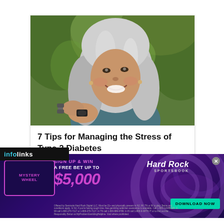[Figure (photo): Middle-aged woman with long silver-gray hair, smiling, holding a dumbbell weight while exercising outdoors with green foliage in the background.]
7 Tips for Managing the Stress of Type 2 Diabetes
Healthgrades
PurpleAds
infolinks
[Figure (infographic): Hard Rock Sportsbook advertisement banner. Mystery Wheel promotion. Sign up & Win a Free Bet up to $5,000. Download Now button. Purple and dark background with neon circles.]